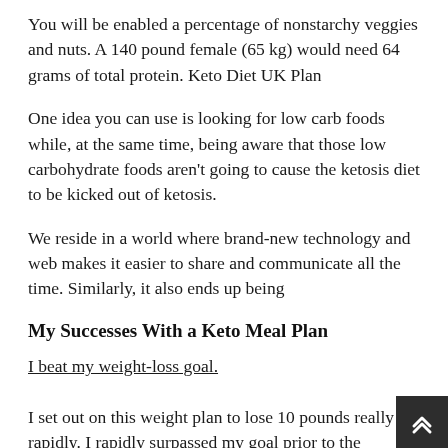You will be enabled a percentage of nonstarchy veggies and nuts. A 140 pound female (65 kg) would need 64 grams of total protein. Keto Diet UK Plan
One idea you can use is looking for low carb foods while, at the same time, being aware that those low carbohydrate foods aren’t going to cause the ketosis diet to be kicked out of ketosis.
We reside in a world where brand-new technology and web makes it easier to share and communicate all the time. Similarly, it also ends up being
My Successes With a Keto Meal Plan
I beat my weight-loss goal.
I set out on this weight plan to lose 10 pounds really rapidly. I rapidly surpassed my goal prior to the wedding event. I’m down 10 pounds 20 days prior to